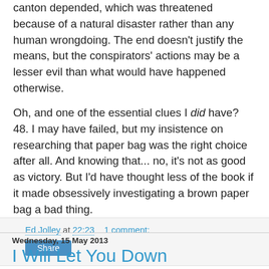canton depended, which was threatened because of a natural disaster rather than any human wrongdoing. The end doesn't justify the means, but the conspirators' actions may be a lesser evil than what would have happened otherwise.
Oh, and one of the essential clues I did have? 48. I may have failed, but my insistence on researching that paper bag was the right choice after all. And knowing that... no, it's not as good as victory. But I'd have thought less of the book if it made obsessively investigating a brown paper bag a bad thing.
Ed Jolley at 22:23    1 comment:
Share
Wednesday, 15 May 2013
I Will Let You Down
My after-school wanderings on the day that I acquired Trial of Champions, Ian Livingstone's sequel to Deathtrap